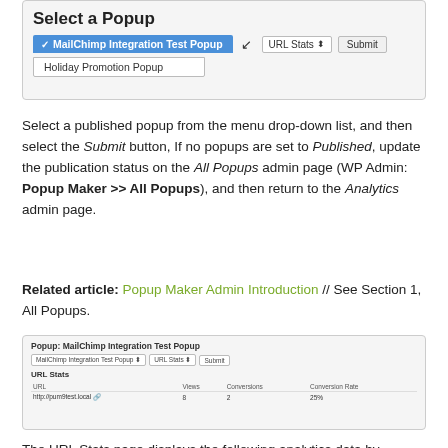[Figure (screenshot): Screenshot showing 'Select a Popup' dropdown with 'MailChimp Integration Test Popup' selected (blue highlight), 'Holiday Promotion Popup' listed below, and URL Stats dropdown plus Submit button to the right.]
Select a published popup from the menu drop-down list, and then select the Submit button, If no popups are set to Published, update the publication status on the All Popups admin page (WP Admin: Popup Maker >> All Popups), and then return to the Analytics admin page.
Related article: Popup Maker Admin Introduction // See Section 1, All Popups.
[Figure (screenshot): Screenshot showing the URL Stats page for Popup: MailChimp Integration Test Popup, with columns URL, Views, Conversions, Conversion Rate and a data row showing http://pum9test.local with 8 views, 2 conversions, 25%.]
The URL Stats page displays the following analytics data by column: